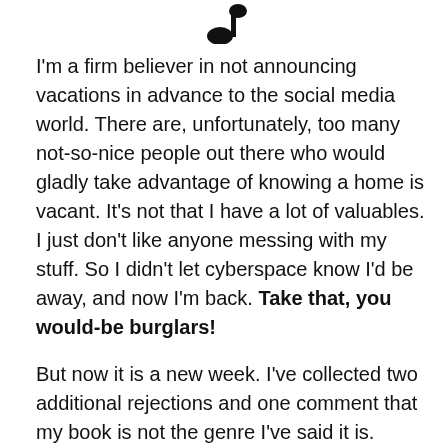[Figure (illustration): Small black inkblot or musical note-like icon centered at top of page]
I'm a firm believer in not announcing vacations in advance to the social media world. There are, unfortunately, too many not-so-nice people out there who would gladly take advantage of knowing a home is vacant. It's not that I have a lot of valuables. I just don't like anyone messing with my stuff. So I didn't let cyberspace know I'd be away, and now I'm back. Take that, you would-be burglars!
But now it is a new week. I've collected two additional rejections and one comment that my book is not the genre I've said it is.
So here's my question of the week. If you read the following description of a novel, to what genre would you assign it: romance, general fiction, commercial fiction,